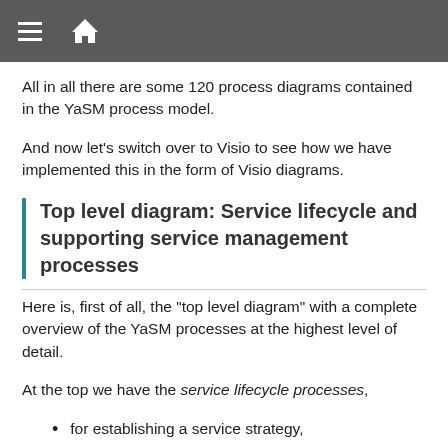≡ 🏠
All in all there are some 120 process diagrams contained in the YaSM process model.
And now let's switch over to Visio to see how we have implemented this in the form of Visio diagrams.
Top level diagram: Service lifecycle and supporting service management processes
Here is, first of all, the "top level diagram" with a complete overview of the YaSM processes at the highest level of detail.
At the top we have the service lifecycle processes,
for establishing a service strategy,
for designing,
building